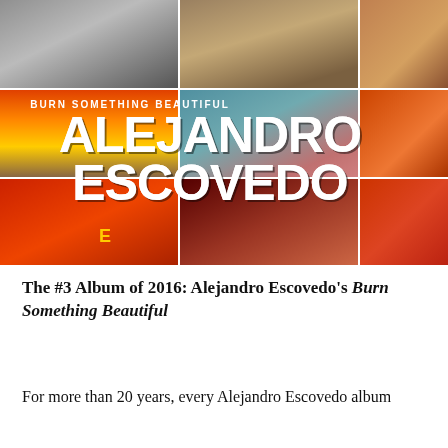[Figure (photo): Album cover collage for Alejandro Escovedo's 'Burn Something Beautiful'. A grid of photos featuring various scenes: a man at a podium, accordion/instrument close-up, drum, orange sky landscape, street/amp photo, figure walking, red barn, person on couch, guitar player, and red textured background. Bold white typography overlaid reads 'BURN SOMETHING BEAUTIFUL' and 'ALEJANDRO ESCOVEDO'.]
The #3 Album of 2016: Alejandro Escovedo's Burn Something Beautiful
For more than 20 years, every Alejandro Escovedo album